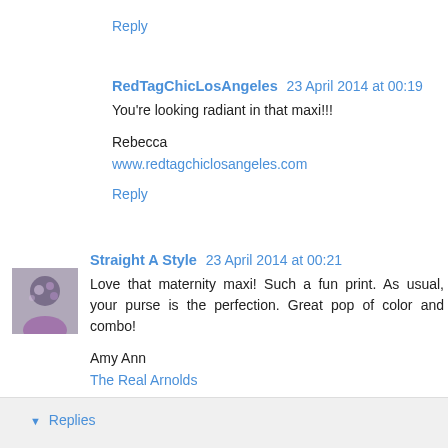Reply
RedTagChicLosAngeles  23 April 2014 at 00:19
You're looking radiant in that maxi!!!

Rebecca
www.redtagchiclosangeles.com
Reply
[Figure (photo): Small avatar photo of a person in a floral/printed outfit]
Straight A Style  23 April 2014 at 00:21
Love that maternity maxi! Such a fun print. As usual, your purse is the perfection. Great pop of color and combo!

Amy Ann
The Real Arnolds
Reply
▾ Replies